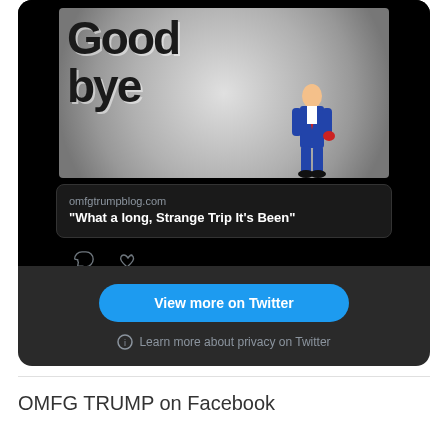[Figure (screenshot): Twitter/X embedded tweet showing a 'Good bye' image with a figure in a blue suit, a link preview for omfgtrumpblog.com with title "What a long, Strange Trip It's Been", comment and like icons, a blue 'View more on Twitter' button, and a 'Learn more about privacy on Twitter' line]
omfgtrumpblog.com
“What a long, Strange Trip It’s Been”
View more on Twitter
Learn more about privacy on Twitter
OMFG TRUMP on Facebook